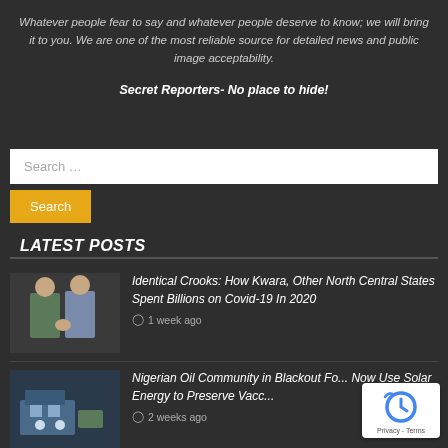Whatever people fear to say and whatever people deserve to know; we will bring it to you. We are one of the most reliable source for detailed news and public image acceptability.
Secret Reporters- No place to hide!
Search …
Search
LATEST POSTS
Identical Crooks: How Kwara, Other North Central States Spent Billions on Covid-19 In 2020
1 week ago
Nigerian Oil Community in Blackout Fo... Now Use Solar Energy to Preserve Vacc...
2 weeks ago